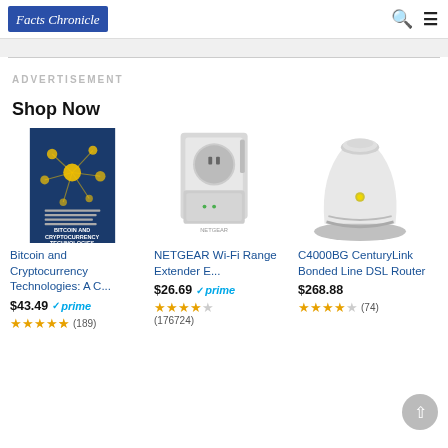Facts Chronicle [logo] | search icon | menu icon
ADVERTISEMENT
Shop Now
[Figure (photo): Book cover: Bitcoin and Cryptocurrency Technologies]
Bitcoin and Cryptocurrency Technologies: A C...
$43.49 prime (4.5 stars, 189 reviews)
[Figure (photo): NETGEAR Wi-Fi Range Extender plugged into wall outlet]
NETGEAR Wi-Fi Range Extender E...
$26.69 prime (4.5 stars, 176724 reviews)
[Figure (photo): C4000BG CenturyLink Bonded Line DSL Router white device]
C4000BG CenturyLink Bonded Line DSL Router
$268.88 (4 stars, 74 reviews)